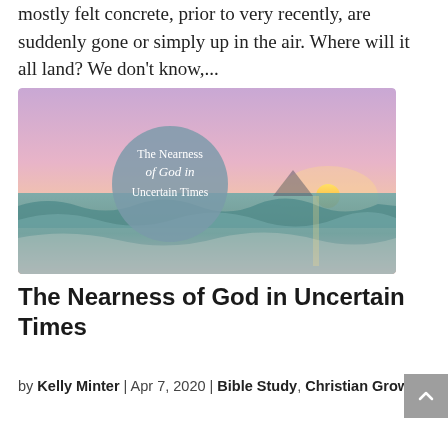mostly felt concrete, prior to very recently, are suddenly gone or simply up in the air. Where will it all land? We don’t know,...
[Figure (illustration): Scenic image of ocean waves at sunset with a pastel pink and purple sky. Overlaid is a circular grey badge with white text reading 'The Nearness of God in Uncertain Times'.]
The Nearness of God in Uncertain Times
by Kelly Minter | Apr 7, 2020 | Bible Study, Christian Growth,